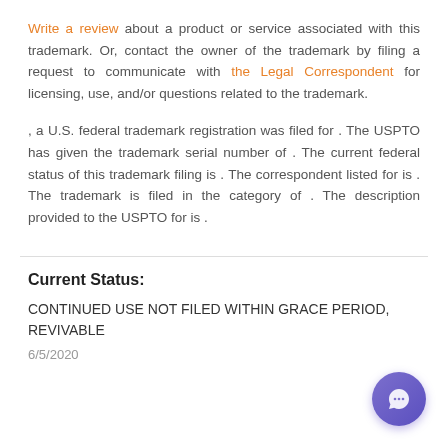Write a review about a product or service associated with this trademark. Or, contact the owner of the trademark by filing a request to communicate with the Legal Correspondent for licensing, use, and/or questions related to the trademark.
, a U.S. federal trademark registration was filed for . The USPTO has given the trademark serial number of . The current federal status of this trademark filing is . The correspondent listed for is . The trademark is filed in the category of . The description provided to the USPTO for is .
Current Status:
CONTINUED USE NOT FILED WITHIN GRACE PERIOD, REVIVABLE
6/5/2020